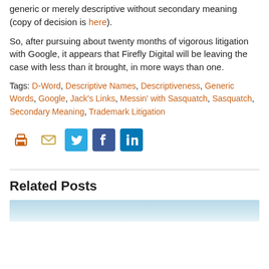generic or merely descriptive without secondary meaning (copy of decision is here).
So, after pursuing about twenty months of vigorous litigation with Google, it appears that Firefly Digital will be leaving the case with less than it brought, in more ways than one.
Tags: D-Word, Descriptive Names, Descriptiveness, Generic Words, Google, Jack's Links, Messin' with Sasquatch, Sasquatch, Secondary Meaning, Trademark Litigation
[Figure (other): Social sharing icons: print (orange), email (tan/orange), Twitter (blue), Facebook (dark blue), LinkedIn (blue)]
Related Posts